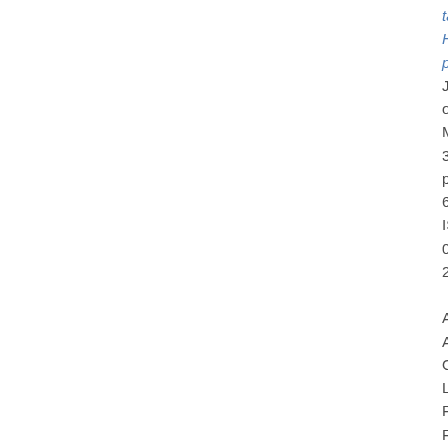targeting H. pylori. Journal of Microencapsula 31 (1). pp. 58-67. ISSN 0265-2048

Adebisi, Adeola O., Laity, Peter R. and Conway, Barbara